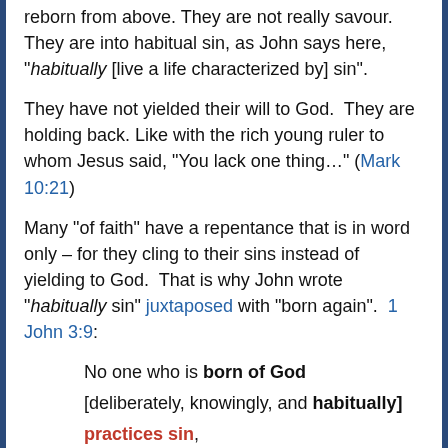reborn from above. They are not really savour. They are into habitual sin, as John says here, "–habitually [live a life characterized by] sin".
They have not yielded their will to God. They are holding back. Like with the rich young ruler to whom Jesus said, “You lack one thing…” (Mark 10:21)
Many “of faith” have a repentance that is in word only – for they cling to their sins instead of yielding to God. That is why John wrote “habitually sin” juxtaposed with “born again”. 1 John 3:9:
No one who is born of God [deliberately, knowingly, and habitually] practices sin,